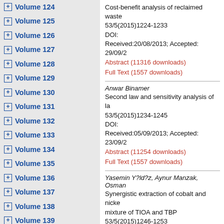Volume 124
Volume 125
Volume 126
Volume 127
Volume 128
Volume 129
Volume 130
Volume 131
Volume 132
Volume 133
Volume 134
Volume 135
Volume 136
Volume 137
Volume 138
Volume 139
Volume 140
Volume 141
Volume 142
Volume 143
Volume 144
Volume 145
Volume 146
Volume 147
Volume 148
Cost-benefit analysis of reclaimed waste...
53/5(2015)1224-1233
DOI:
Received:20/08/2013; Accepted: 29/09/2...
Abstract (11316 downloads)
Full Text (1557 downloads)
Anwar Binamer
Second law and sensitivity analysis of la...
53/5(2015)1234-1245
DOI:
Received:05/09/2013; Accepted: 23/09/2...
Abstract (11254 downloads)
Full Text (1557 downloads)
Yasemin Y?ld?z, Aynur Manzak, Osman...
Synergistic extraction of cobalt and nicke... mixture of TIOA and TBP
53/5(2015)1246-1253
DOI:
Received:21/03/2013; Accepted: 25/09/2...
Abstract (11296 downloads)
Full Text (1557 downloads)
Alireza Zirehpour, Ahmad Rahimpour, M...
The filtration performance and efficiency...
integrated membrane process